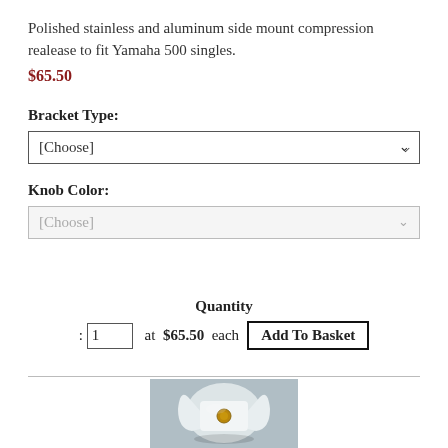Polished stainless and aluminum side mount compression realease to fit Yamaha 500 singles.
$65.50
Bracket Type:
[Choose] (dropdown)
Knob Color:
[Choose] (dropdown, disabled)
Quantity
: 1  at  $65.50  each   Add To Basket
[Figure (photo): Photo of a polished stainless and aluminum side mount compression release bracket, showing a white and chrome metal part against a grey background.]